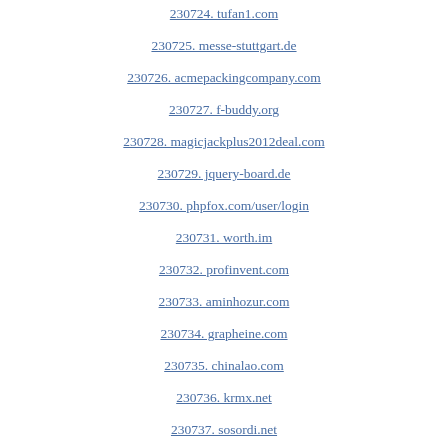230724. tufan1.com
230725. messe-stuttgart.de
230726. acmepackingcompany.com
230727. f-buddy.org
230728. magicjackplus2012deal.com
230729. jquery-board.de
230730. phpfox.com/user/login
230731. worth.im
230732. profinvent.com
230733. aminhozur.com
230734. grapheine.com
230735. chinalao.com
230736. krmx.net
230737. sosordi.net
230738. innexinc.com